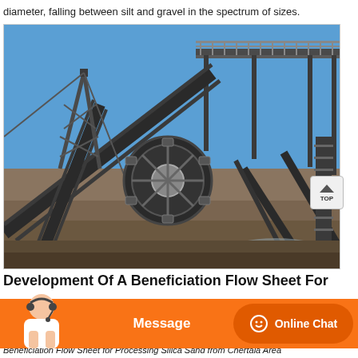diameter, falling between silt and gravel in the spectrum of sizes.
[Figure (photo): Industrial sand processing/washing equipment with conveyor belts, bucket wheel, and structural steel framework under a clear blue sky.]
Development Of A Beneficiation Flow Sheet For
Beneficiation Flow Sheet for Processing Silica Sand from Chertala Area